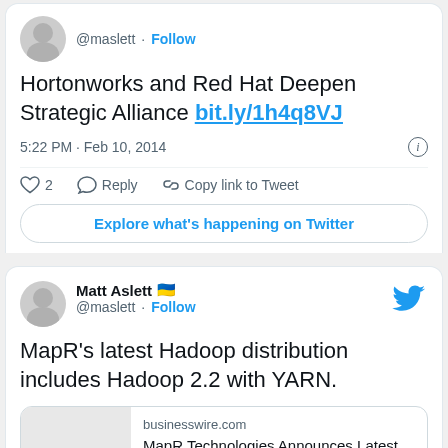@maslett · Follow
Hortonworks and Red Hat Deepen Strategic Alliance bit.ly/1h4q8VJ
5:22 PM · Feb 10, 2014
♡ 2  Reply  Copy link to Tweet
Explore what's happening on Twitter
Matt Aslett 🇺🇦 @maslett · Follow
MapR's latest Hadoop distribution includes Hadoop 2.2 with YARN.
businesswire.com
MapR Technologies Announces Latest Release including Apache Hadoop 2.0 with YARN
MapR Technologies, Inc. today announced at t...